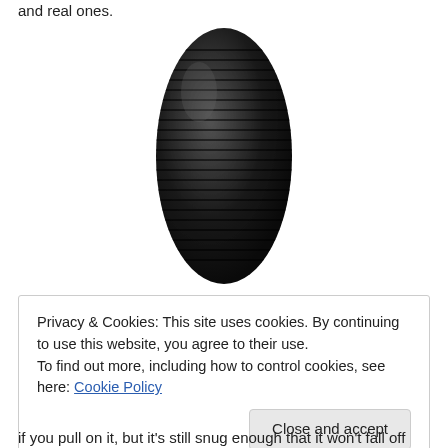and real ones.
[Figure (photo): A black rubber rifle butt pad / recoil pad, oval-shaped with horizontal ribbed grooves across its surface, photographed on a white background.]
Privacy & Cookies: This site uses cookies. By continuing to use this website, you agree to their use.
To find out more, including how to control cookies, see here: Cookie Policy
Close and accept
if you pull on it, but it's still snug enough that it won't fall off